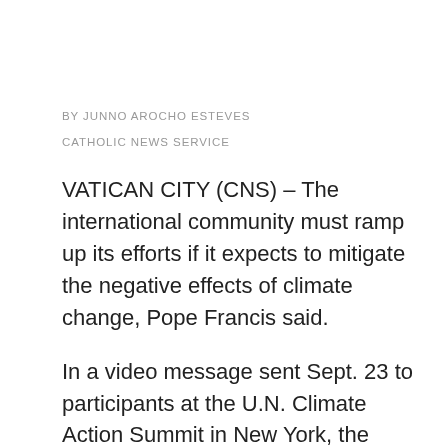BY JUNNO AROCHO ESTEVES
CATHOLIC NEWS SERVICE
VATICAN CITY (CNS) – The international community must ramp up its efforts if it expects to mitigate the negative effects of climate change, Pope Francis said.
In a video message sent Sept. 23 to participants at the U.N. Climate Action Summit in New York, the pope said that while the 2015 Paris climate agreement raised awareness and the "need for a collective response," the commitments made by countries "are still very weak and are far from